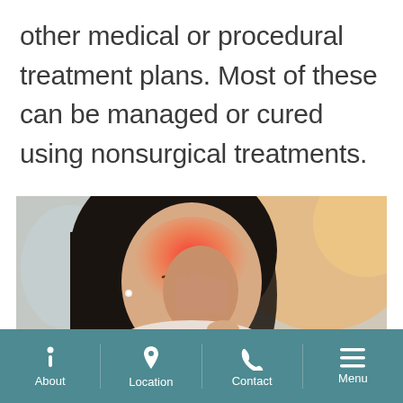other medical or procedural treatment plans. Most of these can be managed or cured using nonsurgical treatments.
[Figure (photo): Woman pinching the bridge of her nose with eyes closed, appearing to have a headache or sinus pain, with a red highlighted area around her sinuses/eyes area indicating pain.]
About  Location  Contact  Menu